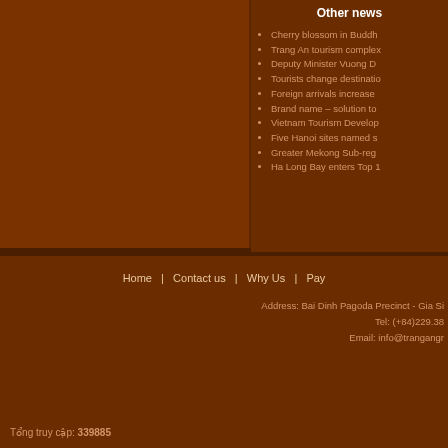Other news
Cherry blossom in Buddh
Trang An tourism complex
Deputy Minister Vuong D
Tourists change destinatio
Foreign arrivals increase
Brand name – solution to
Vietnam Tourism Develop
Five Hanoi sites named s
Greater Mekong Sub-reg
Ha Long Bay enters Top 1
Home | Contact us | Why Us | Pay
Address: Bai Dinh Pagoda Precinct - Gia Si
Tel: (+84)229.38
Email: info@trangangr
Tổng truy cập: 339885